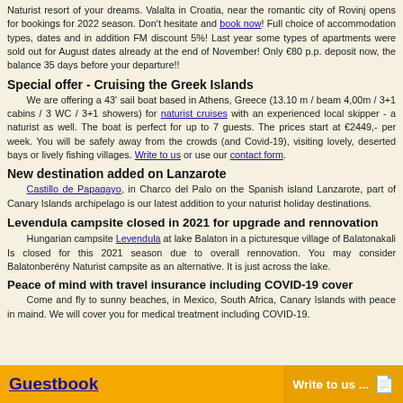Naturist resort of your dreams. Valalta in Croatia, near the romantic city of Rovinj opens for bookings for 2022 season. Don't hesitate and book now! Full choice of accommodation types, dates and in addition FM discount 5%! Last year some types of apartments were sold out for August dates already at the end of November! Only €80 p.p. deposit now, the balance 35 days before your departure!!
Special offer - Cruising the Greek Islands
We are offering a 43' sail boat based in Athens, Greece (13.10 m / beam 4,00m / 3+1 cabins / 3 WC / 3+1 showers) for naturist cruises with an experienced local skipper - a naturist as well. The boat is perfect for up to 7 guests. The prices start at €2449,- per week. You will be safely away from the crowds (and Covid-19), visiting lovely, deserted bays or lively fishing villages. Write to us or use our contact form.
New destination added on Lanzarote
Castillo de Papagayo, in Charco del Palo on the Spanish island Lanzarote, part of Canary Islands archipelago is our latest addition to your naturist holiday destinations.
Levendula campsite closed in 2021 for upgrade and rennovation
Hungarian campsite Levendula at lake Balaton in a picturesque village of Balatonakali Is closed for this 2021 season due to overall rennovation. You may consider Balatonberény Naturist campsite as an alternative. It is just across the lake.
Peace of mind with travel insurance including COVID-19 cover
Come and fly to sunny beaches, in Mexico, South Africa, Canary Islands with peace in maind. We will cover you for medical treatment including COVID-19.
Guestbook | Write to us ...